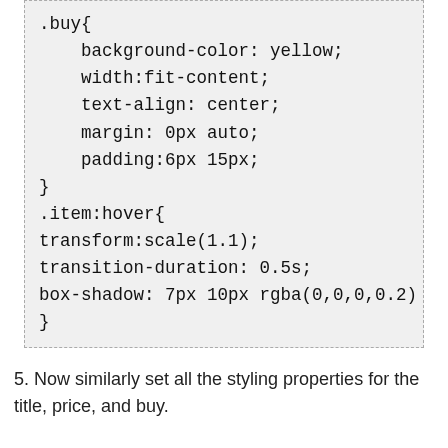[Figure (screenshot): Code block showing CSS for .buy and .item:hover selectors with properties including background-color, width, text-align, margin, padding, transform, transition-duration, and box-shadow]
5. Now similarly set all the styling properties for the title, price, and buy.
6. Hover is a pseudo selector which is used if you use it when you keep the mouse over the item it applies the properties inside it. I used the